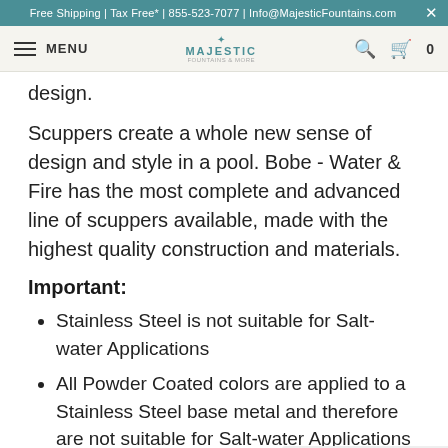Free Shipping | Tax Free* | 855-523-7077 | Info@MajesticFountains.com
MENU | MAJESTIC | 0
design.
Scuppers create a whole new sense of design and style in a pool. Bobe - Water & Fire has the most complete and advanced line of scuppers available, made with the highest quality construction and materials.
Important:
Stainless Steel is not suitable for Salt-water Applications
All Powder Coated colors are applied to a Stainless Steel base metal and therefore are not suitable for Salt-water Applications
Due to natural properties, copper material